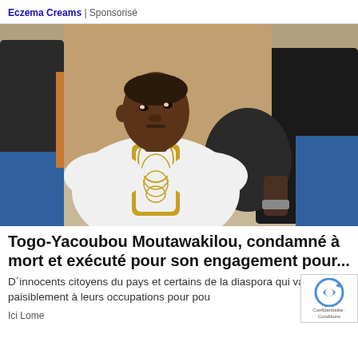Eczema Creams | Sponsorisé
[Figure (photo): A young man wearing a white and gold embroidered traditional African garment (boubou) seated in a blue chair, with other people standing behind him in an outdoor setting.]
Togo-Yacoubou Moutawakilou, condamné à mort et exécuté pour son engagement pour...
D´innocents citoyens du pays et certains de la diaspora qui vaquaient paisiblement à leurs occupations pour pou
Ici Lome